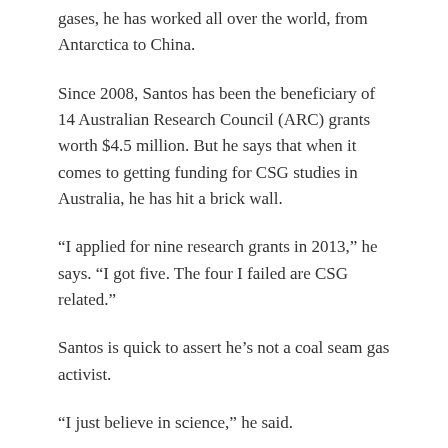gases, he has worked all over the world, from Antarctica to China.
Since 2008, Santos has been the beneficiary of 14 Australian Research Council (ARC) grants worth $4.5 million. But he says that when it comes to getting funding for CSG studies in Australia, he has hit a brick wall.
“I applied for nine research grants in 2013,” he says. “I got five. The four I failed are CSG related.”
Santos is quick to assert he’s not a coal seam gas activist.
“I just believe in science,” he said.
In 2012, he and a team of Southern Cross University scientists made a submission to the government’s now defunct Department of Climate Change and Energy Efficiency on